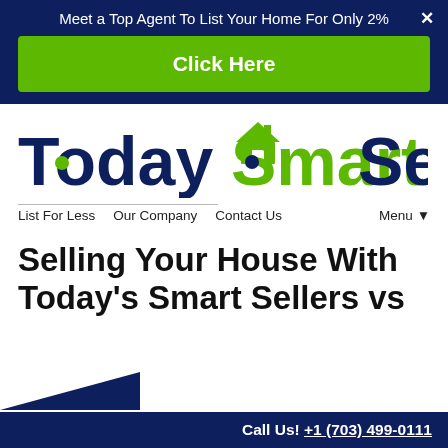Meet a Top Agent To List Your Home For Only 2%
Click Here
[Figure (logo): Today Smart Seller logo with green house icon, dark blue and green text]
List For Less   Our Company   Contact Us   Menu ▾
Selling Your House With Today's Smart Sellers vs
Call Us! +1 (703) 499-0111